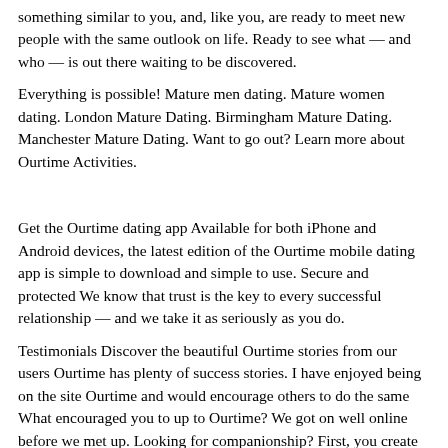something similar to you, and, like you, are ready to meet new people with the same outlook on life. Ready to see what — and who — is out there waiting to be discovered.
Everything is possible! Mature men dating. Mature women dating. London Mature Dating. Birmingham Mature Dating. Manchester Mature Dating. Want to go out? Learn more about Ourtime Activities.
Get the Ourtime dating app Available for both iPhone and Android devices, the latest edition of the Ourtime mobile dating app is simple to download and simple to use. Secure and protected We know that trust is the key to every successful relationship — and we take it as seriously as you do.
Testimonials Discover the beautiful Ourtime stories from our users Ourtime has plenty of success stories. I have enjoyed being on the site Ourtime and would encourage others to do the same What encouraged you to up to Ourtime? We got on well online before we met up. Looking for companionship? First, you create your profile for free either using our app or our website. Next, write a few lines about yourself, the things you like and the things you would love to share with someone else. Be positive, and remember to make yourself sound like someone other people would like to meet.